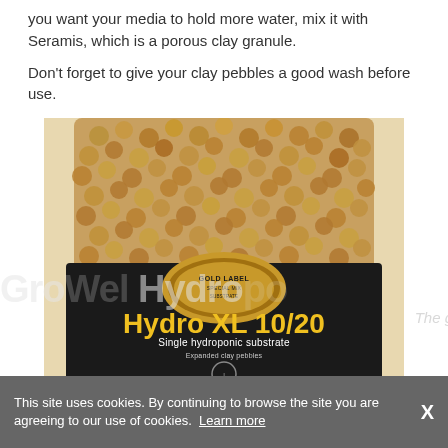you want your media to hold more water, mix it with Seramis, which is a porous clay granule.

Don't forget to give your clay pebbles a good wash before use.
[Figure (photo): A bag of Gold Label Hydro XL 10/20 single hydroponic substrate (expanded clay pebbles), black bag with gold oval logo and yellow/white text, filled with visible clay pebbles]
This site uses cookies. By continuing to browse the site you are agreeing to our use of cookies. Learn more